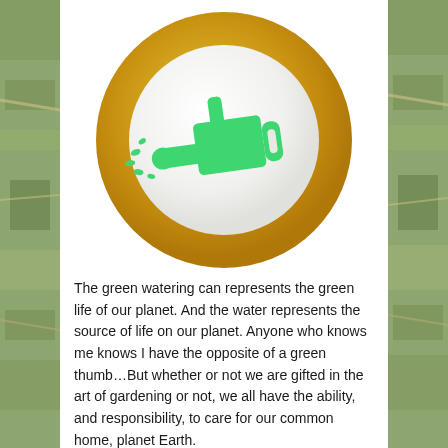[Figure (illustration): A circular badge with a thick gold/yellow gradient ring border and a white interior circle containing a green watering can icon with water droplets spraying from the spout.]
The green watering can represents the green life of our planet. And the water represents the source of life on our planet. Anyone who knows me knows I have the opposite of a green thumb…But whether or not we are gifted in the art of gardening or not, we all have the ability, and responsibility, to care for our common home, planet Earth.